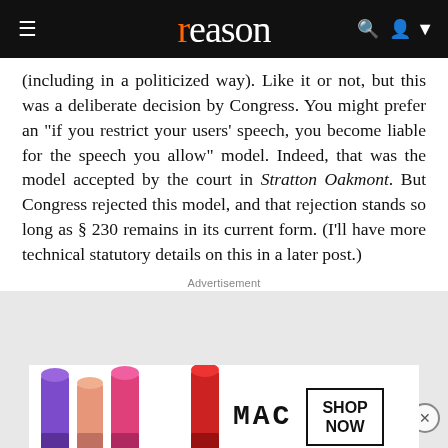reason
(including in a politicized way). Like it or not, but this was a deliberate decision by Congress. You might prefer an "if you restrict your users' speech, you become liable for the speech you allow" model. Indeed, that was the model accepted by the court in Stratton Oakmont. But Congress rejected this model, and that rejection stands so long as § 230 remains in its current form. (I'll have more technical statutory details on this in a later post.)
Advertisement
[Figure (photo): Advertisement banner area - gray box with an X close button. MAC cosmetics lipstick ad at the bottom with colorful lipsticks and SHOP NOW button.]
[2.] Section 230 does indeed embody a normative/political principle... Twitter is immune from liability for its users' posts, and a